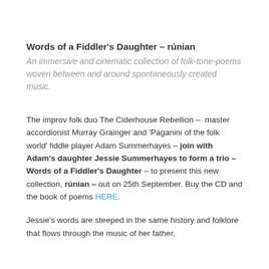Words of a Fiddler's Daughter – rúnian
An immersive and cinematic collection of folk-tone-poems woven between and around spontaneously created music.
The improv folk duo The Ciderhouse Rebellion – master accordionist Murray Grainger and 'Paganini of the folk world' fiddle player Adam Summerhayes – join with Adam's daughter Jessie Summerhayes to form a trio – Words of a Fiddler's Daughter – to present this new collection, rúnian – out on 25th September. Buy the CD and the book of poems HERE.
Jessie's words are steeped in the same history and folklore that flows through the music of her father,